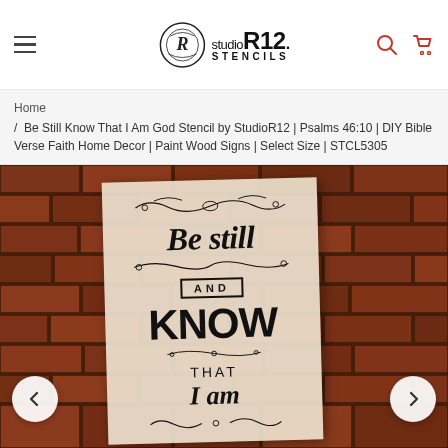STUDIO R12 STENCILS
Home / Be Still Know That I Am God Stencil by StudioR12 | Psalms 46:10 | DIY Bible Verse Faith Home Decor | Paint Wood Signs | Select Size | STCL5305
[Figure (photo): Product photo showing a stencil with 'Be still AND KNOW THAT I am' text in decorative lettering, positioned against a red brick wall background. Navigation arrows on left and right sides.]